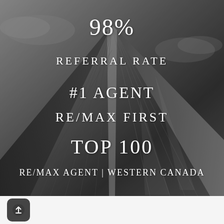[Figure (photo): Black and white photo of a modern glass skyscraper shot from below looking up, showing angular geometric lines against a cloudy sky, in grayscale tones]
98%
REFERRAL RATE
#1 AGENT
RE/MAX FIRST
TOP 100
RE/MAX AGENT | WESTERN CANADA